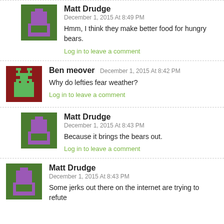Matt Drudge
December 1, 2015 At 8:49 PM
Hmm, I think they make better food for hungry bears.
Log in to leave a comment
Ben meover December 1, 2015 At 8:42 PM
Why do lefties fear weather?
Log in to leave a comment
Matt Drudge
December 1, 2015 At 8:43 PM
Because it brings the bears out.
Log in to leave a comment
Matt Drudge
December 1, 2015 At 8:43 PM
Some jerks out there on the internet are trying to refute